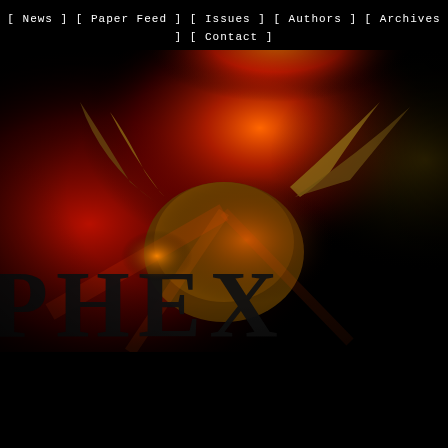[ News ] [ Paper Feed ] [ Issues ] [ Authors ] [ Archives ] [ Contact ]
[Figure (photo): Dark dramatic image of a demonic goat-like creature with large curved horns surrounded by fire and red light. Large dark letterforms partially visible at the bottom of the image spelling what appears to be a title.]